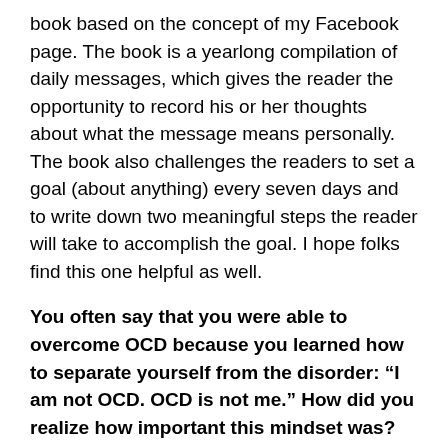book based on the concept of my Facebook page. The book is a yearlong compilation of daily messages, which gives the reader the opportunity to record his or her thoughts about what the message means personally. The book also challenges the readers to set a goal (about anything) every seven days and to write down two meaningful steps the reader will take to accomplish the goal. I hope folks find this one helpful as well.
You often say that you were able to overcome OCD because you learned how to separate yourself from the disorder: “I am not OCD. OCD is not me.” How did you realize how important this mindset was? And why do you think it is so helpful?
My psychologist, a Navy Lieutenant, had given me a basic strategy: 1. Identify the OCD thoughts; 2. Don’t resist the